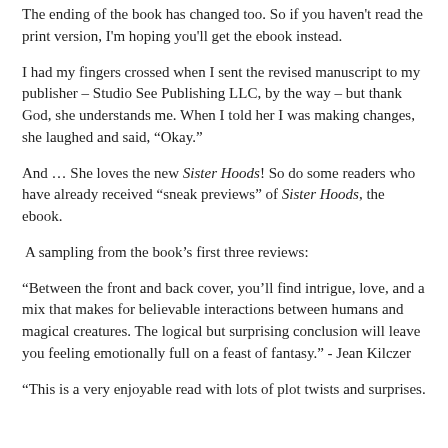The ending of the book has changed too. So if you haven't read the print version, I'm hoping you'll get the ebook instead.
I had my fingers crossed when I sent the revised manuscript to my publisher – Studio See Publishing LLC, by the way – but thank God, she understands me. When I told her I was making changes, she laughed and said, “Okay.”
And … She loves the new Sister Hoods! So do some readers who have already received “sneak previews” of Sister Hoods, the ebook.
A sampling from the book’s first three reviews:
“Between the front and back cover, you’ll find intrigue, love, and a mix that makes for believable interactions between humans and magical creatures. The logical but surprising conclusion will leave you feeling emotionally full on a feast of fantasy.” - Jean Kilczer
“This is a very enjoyable read with lots of plot twists and surprises.